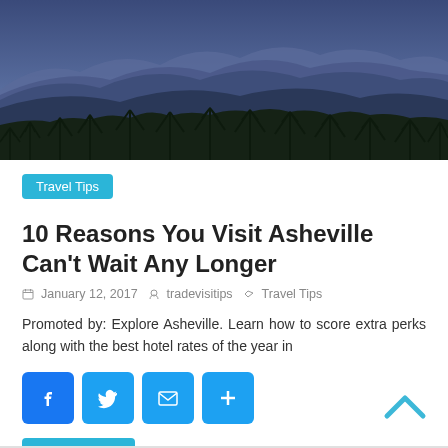[Figure (photo): Aerial panoramic view of misty blue mountain ridges with dark evergreen forest in the foreground, taken at dusk or dawn.]
Travel Tips
10 Reasons You Visit Asheville Can't Wait Any Longer
January 12, 2017   tradevisitips   Travel Tips
Promoted by: Explore Asheville. Learn how to score extra perks along with the best hotel rates of the year in
[Figure (infographic): Social sharing buttons: Facebook, Twitter, Email, and More (+)]
Read more